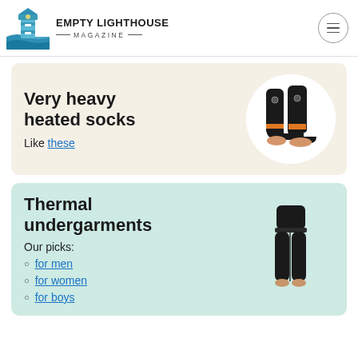Empty Lighthouse Magazine
Very heavy heated socks
Like these
[Figure (photo): Black and orange heated socks shown against a white circular background]
Thermal undergarments
Our picks:
for men
for women
for boys
[Figure (photo): Person wearing black thermal leggings shown against a light teal circular background]